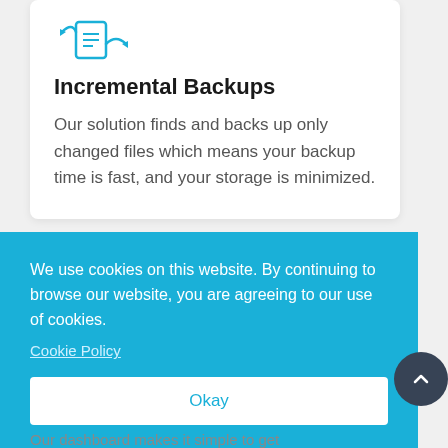[Figure (illustration): Blue icon showing stacked documents with arrows indicating backup/copy operation]
Incremental Backups
Our solution finds and backs up only changed files which means your backup time is fast, and your storage is minimized.
We use cookies on this website. By continuing to browse our website, you are agreeing to our use of cookies.
Cookie Policy
Okay
Our dashboard makes it simple to get